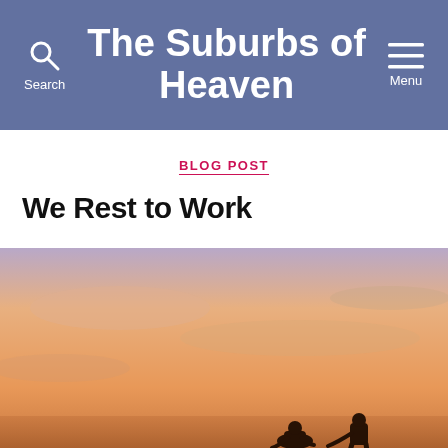The Suburbs of Heaven
BLOG POST
We Rest to Work
[Figure (photo): Silhouette of two people against a warm orange sunset sky with soft clouds]